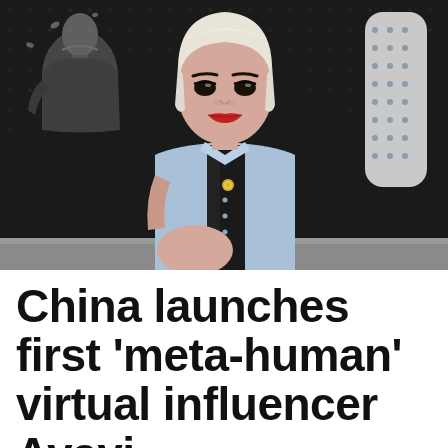[Figure (photo): A CGI/virtual influencer character with platinum blonde bob haircut, wearing a light blue button-up shirt and dark vest/suspenders. The character has a realistic but slightly artificial appearance typical of a 'meta-human' or virtual avatar. Background shows a dark pegboard wall, with a blurred bust/statue figure on the left and a skateboard on the right. The character appears to be sitting on a grey couch or surface.]
China launches first 'meta-human' virtual influencer Ayayi